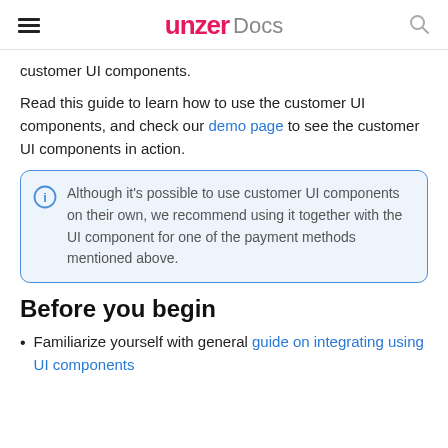unzer Docs
customer UI components.
Read this guide to learn how to use the customer UI components, and check our demo page to see the customer UI components in action.
Although it's possible to use customer UI components on their own, we recommend using it together with the UI component for one of the payment methods mentioned above.
Before you begin
Familiarize yourself with general guide on integrating using UI components